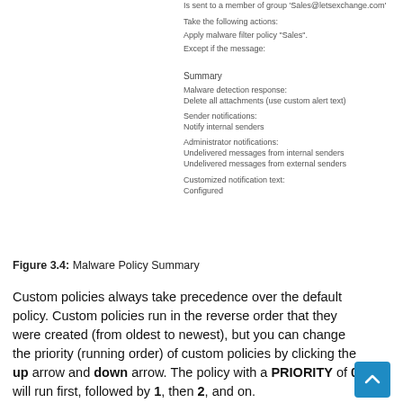Is sent to a member of group 'Sales@letsexchange.com'
Take the following actions:
Apply malware filter policy "Sales".
Except if the message:
Summary
Malware detection response:
Delete all attachments (use custom alert text)
Sender notifications:
Notify internal senders
Administrator notifications:
Undelivered messages from internal senders
Undelivered messages from external senders
Customized notification text:
Configured
Figure 3.4: Malware Policy Summary
Custom policies always take precedence over the default policy. Custom policies run in the reverse order that they were created (from oldest to newest), but you can change the priority (running order) of custom policies by clicking the up arrow and down arrow. The policy with a PRIORITY of 0 will run first, followed by 1, then 2, and on.